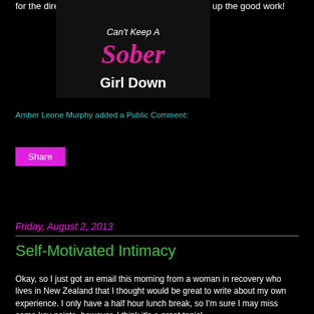for the directions to get over the mountain! Keep up the good work!
[Figure (logo): Can't Keep A Sober Girl Down blog logo in pink script on dark background]
Amber Leone Murphy added a Public Comment:
Share
Friday, August 2, 2013
Self-Motivated Intimacy
Okay, so I just got an email this morning from a woman in recovery who lives in New Zealand that I thought would be great to write about my own experience. I only have a half hour lunch break, so I'm sure I may miss some key points, however, I think it's a great topic!
She said, "I am only six weeks sober and I desperately want to have sex. My sponsor and I did step-work on my sexual inventory.